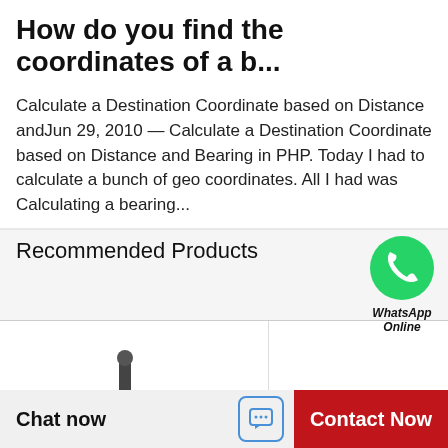How do you find the coordinates of a b...
Calculate a Destination Coordinate based on Distance andJun 29, 2010 — Calculate a Destination Coordinate based on Distance and Bearing in PHP. Today I had to calculate a bunch of geo coordinates. All I had was Calculating a bearing...
Recommended Products
[Figure (photo): WhatsApp Online green circle icon with phone handset]
[Figure (photo): Black hydraulic valve/solenoid component — industrial mechanical part]
[Figure (photo): Blue industrial pump with electric motor on base — centrifugal pump assembly]
Chat now
Contact Now